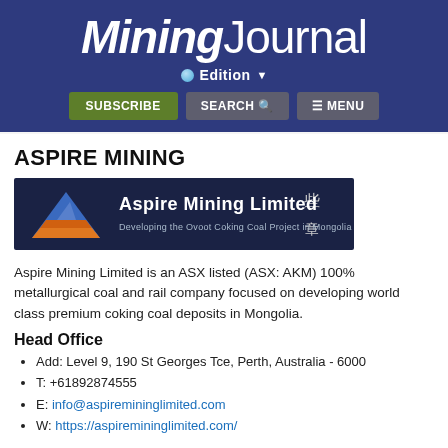Mining Journal Edition
ASPIRE MINING
[Figure (logo): Aspire Mining Limited logo — dark navy background with triangular mountain graphic in blue and orange, text 'Aspire Mining Limited' and 'Developing the Ovoot Coking Coal Project in Mongolia']
Aspire Mining Limited is an ASX listed (ASX: AKM) 100% metallurgical coal and rail company focused on developing world class premium coking coal deposits in Mongolia.
Head Office
Add: Level 9, 190 St Georges Tce, Perth, Australia - 6000
T: +61892874555
E: info@aspiremininglimited.com
W: https://aspiremininglimited.com/